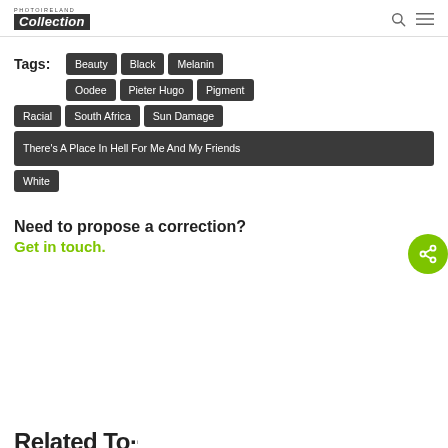PHOTOIRELAND Collection
Tags: Beauty, Black, Melanin, Oodee, Pieter Hugo, Pigment, Racial, South Africa, Sun Damage, There's A Place In Hell For Me And My Friends, White
Need to propose a correction?
Get in touch.